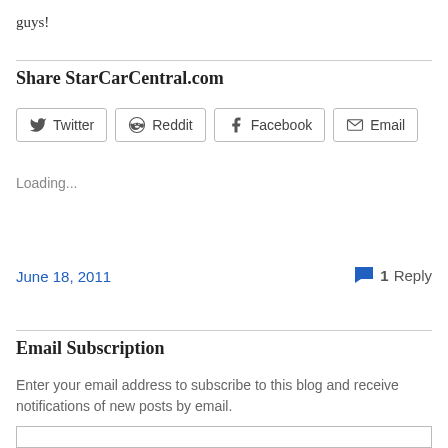guys!
Share StarCarCentral.com
[Figure (other): Share buttons: Twitter, Reddit, Facebook, Email]
Loading...
June 18, 2011
1 Reply
Email Subscription
Enter your email address to subscribe to this blog and receive notifications of new posts by email.